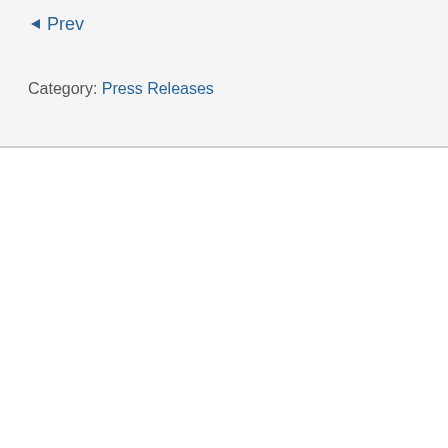◀ Prev
Category: Press Releases